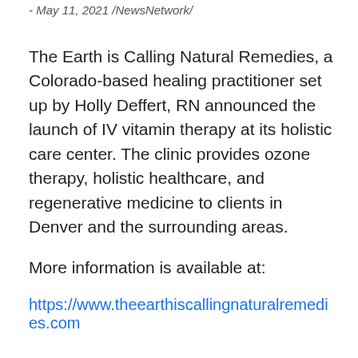- May 11, 2021 /NewsNetwork/
The Earth is Calling Natural Remedies, a Colorado-based healing practitioner set up by Holly Deffert, RN announced the launch of IV vitamin therapy at its holistic care center. The clinic provides ozone therapy, holistic healthcare, and regenerative medicine to clients in Denver and the surrounding areas.
More information is available at:
https://www.theearthiscallingnaturalremedies.com